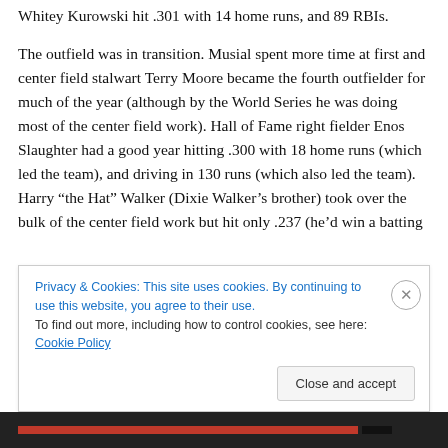Whitey Kurowski hit .301 with 14 home runs, and 89 RBIs.
The outfield was in transition. Musial spent more time at first and center field stalwart Terry Moore became the fourth outfielder for much of the year (although by the World Series he was doing most of the center field work). Hall of Fame right fielder Enos Slaughter had a good year hitting .300 with 18 home runs (which led the team), and driving in 130 runs (which also led the team). Harry “the Hat” Walker (Dixie Walker’s brother) took over the bulk of the center field work but hit only .237 (he’d win a batting
Privacy & Cookies: This site uses cookies. By continuing to use this website, you agree to their use.
To find out more, including how to control cookies, see here: Cookie Policy